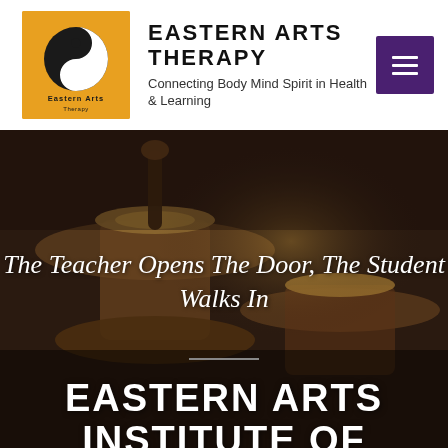[Figure (logo): Eastern Arts Therapy logo: yin-yang symbol on orange background with text 'Eastern Arts Therapy' below]
EASTERN ARTS THERAPY
Connecting Body Mind Spirit in Health & Learning
[Figure (photo): Background photograph of singing bowls / metallic instruments in dark warm tones]
The Teacher Opens The Door, The Student Walks In
EASTERN ARTS INSTITUTE OF HOLISTIC